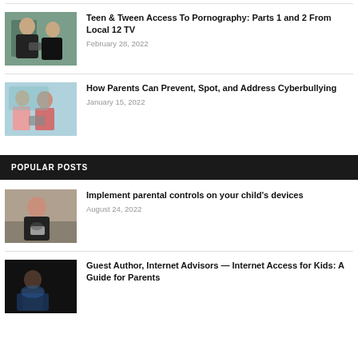[Figure (photo): Two teenage girls looking at a smartphone together]
Teen & Tween Access To Pornography: Parts 1 and 2 From Local 12 TV
February 28, 2022
[Figure (photo): Group of young girls looking at a tablet at school]
How Parents Can Prevent, Spot, and Address Cyberbullying
January 15, 2022
POPULAR POSTS
[Figure (photo): Young girl with glasses holding a smartphone]
Implement parental controls on your child's devices
August 24, 2022
[Figure (photo): Child in dark room looking at a glowing screen]
Guest Author, Internet Advisors — Internet Access for Kids: A Guide for Parents